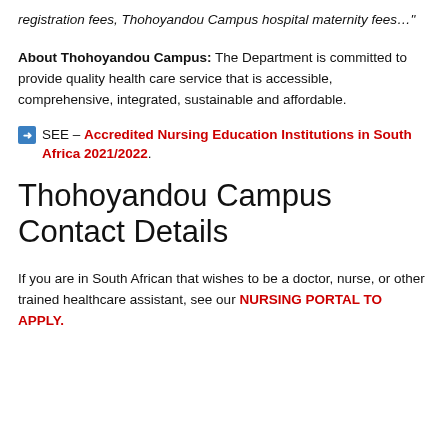registration fees, Thohoyandou Campus hospital maternity fees…"
About Thohoyandou Campus: The Department is committed to provide quality health care service that is accessible, comprehensive, integrated, sustainable and affordable.
SEE – Accredited Nursing Education Institutions in South Africa 2021/2022.
Thohoyandou Campus Contact Details
If you are in South African that wishes to be a doctor, nurse, or other trained healthcare assistant, see our NURSING PORTAL TO APPLY.